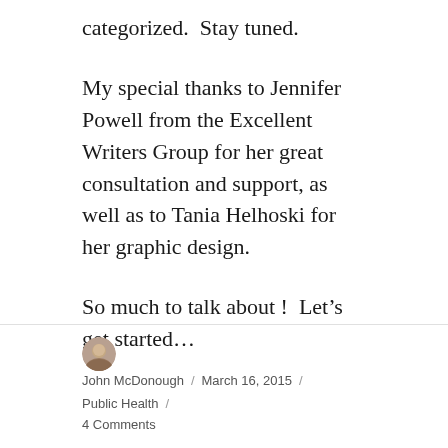categorized.  Stay tuned.
My special thanks to Jennifer Powell from the Excellent Writers Group for her great consultation and support, as well as to Tania Helhoski for her graphic design.
So much to talk about !  Let’s get started…
John McDonough / March 16, 2015 / Public Health / 4 Comments